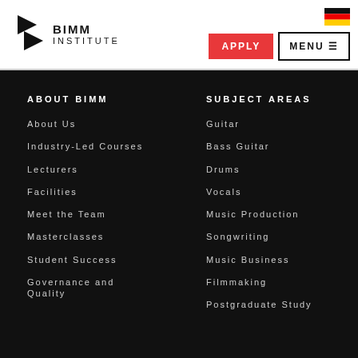[Figure (logo): BIMM Institute logo with angular arrow icon and text BIMM INSTITUTE]
APPLY
MENU ≡
[Figure (illustration): German flag icon (black, red, yellow stripes)]
ABOUT BIMM
About Us
Industry-Led Courses
Lecturers
Facilities
Meet the Team
Masterclasses
Student Success
Governance and Quality
SUBJECT AREAS
Guitar
Bass Guitar
Drums
Vocals
Music Production
Songwriting
Music Business
Filmmaking
Postgraduate Study